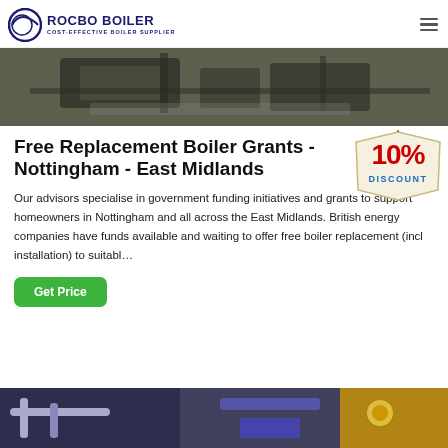ROCBO BOILER - COST-EFFECTIVE BOILER SUPPLIER
[Figure (photo): Industrial boiler or manufacturing equipment in a workshop setting, dark toned image]
Free Replacement Boiler Grants - Nottingham - East Midlands
[Figure (illustration): 10% DISCOUNT badge/sticker graphic in red and blue text on a cream tag shape]
Our advisors specialise in government funding initiatives and grants to support homeowners in Nottingham and all across the East Midlands. British energy companies have funds available and waiting to offer free boiler replacement (incl installation) to suitabl...
Get Price
[Figure (photo): Industrial boiler or piping equipment in a factory setting with blue and yellow tones]